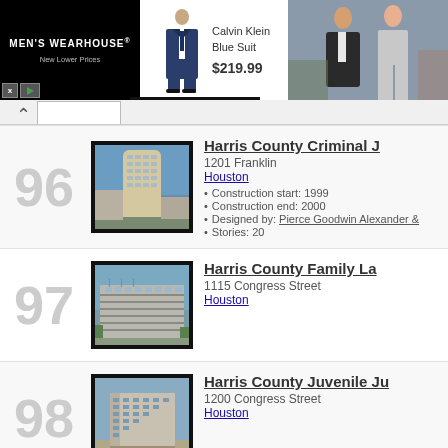[Figure (screenshot): Men's Wearhouse advertisement banner with Calvin Klein Blue Suit priced at $219.99 and couple in formal wear]
96
[Figure (photo): Photo of Harris County Criminal Justice Center building - tall curved tower]
Harris County Criminal J...
1201 Franklin
Houston
Construction start: 1999
Construction end: 2000
Designed by: Pierce Goodwin Alexander &...
Stories: 20
97
[Figure (photo): Photo of Harris County Family Law Center building]
Harris County Family La...
1115 Congress Street
Houston
98
[Figure (photo): Photo of Harris County Juvenile Justice Center building]
Harris County Juvenile Ju...
1200 Congress Street
Houston